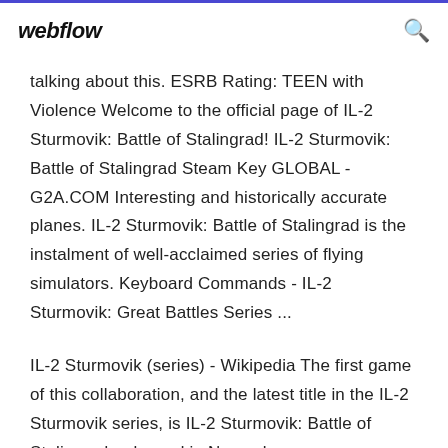webflow
talking about this. ESRB Rating: TEEN with Violence Welcome to the official page of IL-2 Sturmovik: Battle of Stalingrad! IL-2 Sturmovik: Battle of Stalingrad Steam Key GLOBAL - G2A.COM Interesting and historically accurate planes. IL-2 Sturmovik: Battle of Stalingrad is the instalment of well-acclaimed series of flying simulators. Keyboard Commands - IL-2 Sturmovik: Great Battles Series ...
IL-2 Sturmovik (series) - Wikipedia The first game of this collaboration, and the latest title in the IL-2 Sturmovik series, is IL-2 Sturmovik: Battle of Stalingrad, released in November